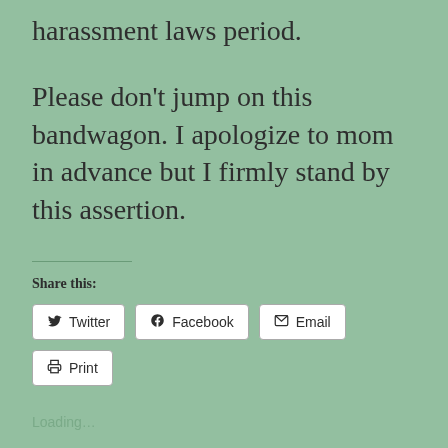harassment laws period.
Please don’t jump on this bandwagon. I apologize to mom in advance but I firmly stand by this assertion.
Share this:
Twitter  Facebook  Email  Print
Loading…